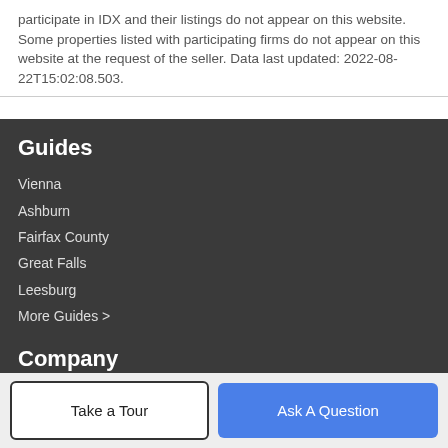participate in IDX and their listings do not appear on this website. Some properties listed with participating firms do not appear on this website at the request of the seller. Data last updated: 2022-08-22T15:02:08.503.
Guides
Vienna
Ashburn
Fairfax County
Great Falls
Leesburg
More Guides >
Company
Take a Tour
Ask A Question